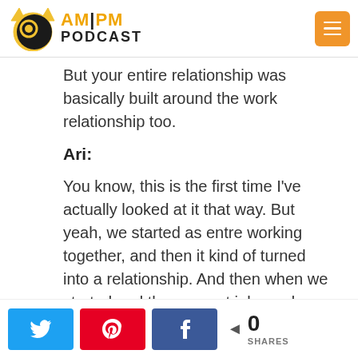[Figure (logo): AM|PM Podcast logo with cat and speech bubble icon, orange and black text]
But your entire relationship was basically built around the work relationship too.
Ari:
You know, this is the first time I've actually looked at it that way. But yeah, we started as entre working together, and then it kind of turned into a relationship. And then when we started and then we got jobs and